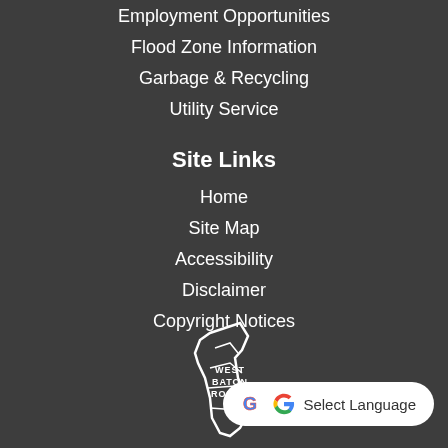Employment Opportunities
Flood Zone Information
Garbage & Recycling
Utility Service
Site Links
Home
Site Map
Accessibility
Disclaimer
Copyright Notices
[Figure (logo): West Baton Rouge parish logo — white outline of a hand/map shape with text 'WEST BATON ROUGE']
[Figure (screenshot): Google Translate widget button with 'Select Language' text]